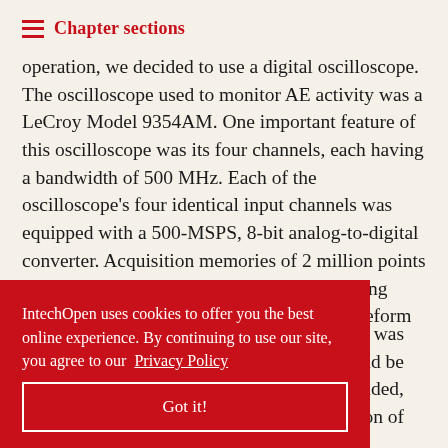Chapter sections
operation, we decided to use a digital oscilloscope. The oscilloscope used to monitor AE activity was a LeCroy Model 9354AM. One important feature of this oscilloscope was its four channels, each having a bandwidth of 500 MHz. Each of the oscilloscope's four identical input channels was equipped with a 500-MSPS, 8-bit analog-to-digital converter. Acquisition memories of 2 million points simplified transient event capture by providing long-waveform records. The capture of waveform was possible even
was ld be e-sided, escription of
IntechOpen uses cookies to offer you the best online experience. By continuing to use our site, you agree to our Privacy Policy
Got it!